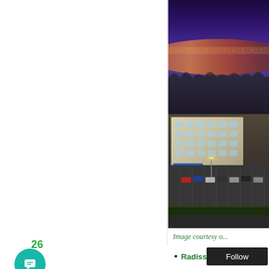[Figure (photo): Aerial night/dusk photograph of a hotel building (appears to be a Radisson Blu) with parking lot in foreground, city lights and harbor visible in background under purple-blue dusk sky]
Image courtesy o...
26
Radisson B....'s